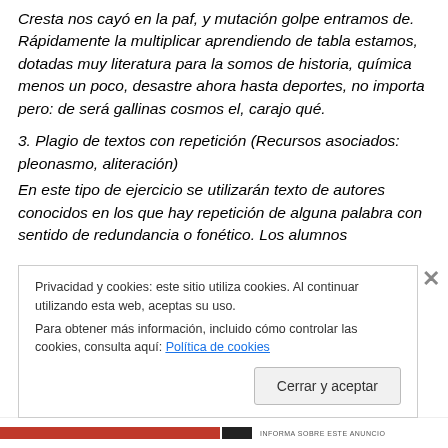Cresta nos cayó en la paf, y mutación golpe entramos de. Rápidamente la multiplicar aprendiendo de tabla estamos, dotadas muy literatura para la somos de historia, química menos un poco, desastre ahora hasta deportes, no importa pero: de será gallinas cosmos el, carajo qué.
3. Plagio de textos con repetición (Recursos asociados: pleonasmo, aliteración)
En este tipo de ejercicio se utilizarán texto de autores conocidos en los que hay repetición de alguna palabra con sentido de redundancia o fonético. Los alumnos...
Privacidad y cookies: este sitio utiliza cookies. Al continuar utilizando esta web, aceptas su uso.
Para obtener más información, incluido cómo controlar las cookies, consulta aquí: Política de cookies